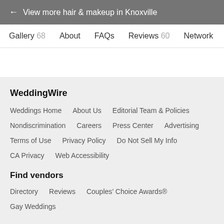← View more hair & makeup in Knoxville
Gallery 68   About   FAQs   Reviews 60   Network
WeddingWire
Weddings Home
About Us
Editorial Team & Policies
Nondiscrimination
Careers
Press Center
Advertising
Terms of Use
Privacy Policy
Do Not Sell My Info
CA Privacy
Web Accessibility
Find vendors
Directory
Reviews
Couples' Choice Awards®
Gay Weddings